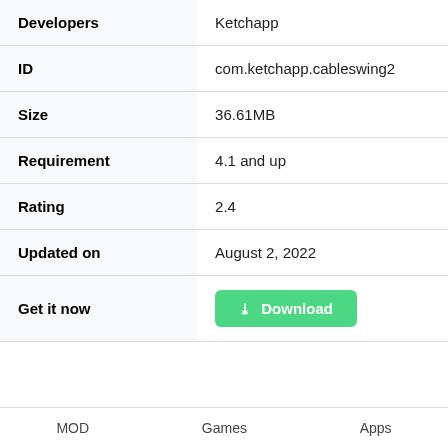| Field | Value |
| --- | --- |
| Developers | Ketchapp |
| ID | com.ketchapp.cableswing2 |
| Size | 36.61MB |
| Requirement | 4.1 and up |
| Rating | 2.4 |
| Updated on | August 2, 2022 |
| Get it now | Download |
MOD   Games   Apps